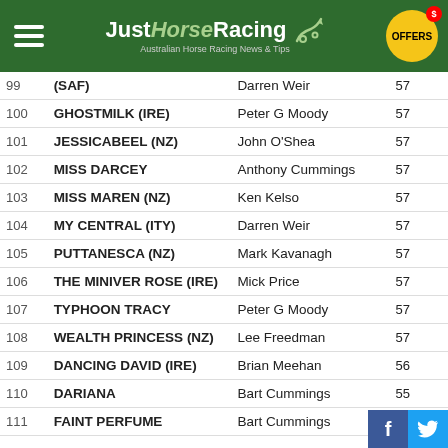JustHorseRacing - Australian Horse Racing News & Tips
| # | Horse | Trainer | Wt |
| --- | --- | --- | --- |
| 99 | (SAF) | Darren Weir | 57 |
| 100 | GHOSTMILK (IRE) | Peter G Moody | 57 |
| 101 | JESSICABEEL (NZ) | John O'Shea | 57 |
| 102 | MISS DARCEY | Anthony Cummings | 57 |
| 103 | MISS MAREN (NZ) | Ken Kelso | 57 |
| 104 | MY CENTRAL (ITY) | Darren Weir | 57 |
| 105 | PUTTANESCA (NZ) | Mark Kavanagh | 57 |
| 106 | THE MINIVER ROSE (IRE) | Mick Price | 57 |
| 107 | TYPHOON TRACY | Peter G Moody | 57 |
| 108 | WEALTH PRINCESS (NZ) | Lee Freedman | 57 |
| 109 | DANCING DAVID (IRE) | Brian Meehan | 56 |
| 110 | DARIANA | Bart Cummings | 55 |
| 111 | FAINT PERFUME | Bart Cummings | 55.5 |